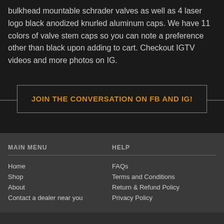bulkhead mountable schrader valves as well as 4 laser logo black anodized knurled aluminum caps. We have 11 colors of valve stem caps so you can note a preference other than black upon adding to cart. Checkout IGTV videos and more photos on IG.
JOIN THE CONVERSATION ON FB AND IG!
MAIN MENU
Home
Shop
About
Contact a dealer near you
HELP
FAQs
Terms and Conditions
Return & Refund Policy
Privacy Policy